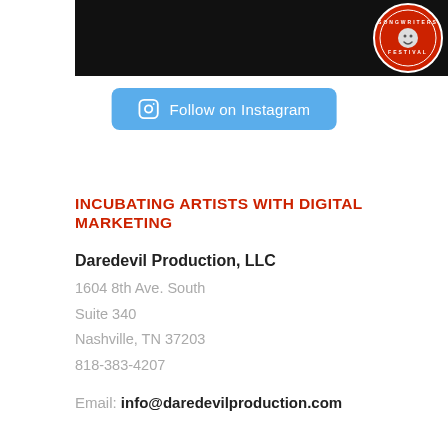[Figure (photo): Partial black banner with circular songwriter festival logo/badge on the right side]
[Figure (screenshot): Blue rounded button with Instagram camera icon and text 'Follow on Instagram']
INCUBATING ARTISTS WITH DIGITAL MARKETING
Daredevil Production, LLC
1604 8th Ave. South
Suite 340
Nashville, TN 37203
818-383-4207
Email: info@daredevilproduction.com